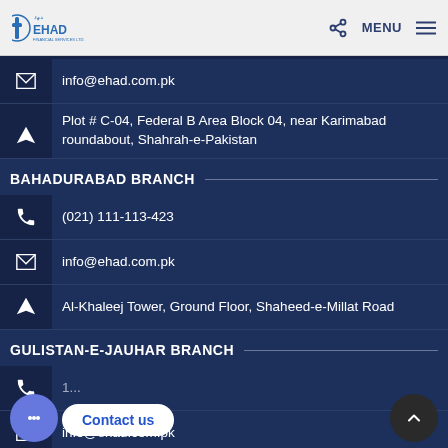[Figure (logo): EHAD logo with cross/medical icon in blue]
MENU
info@ehad.com.pk
Plot # C-04, Federal B Area Block 04, near Karimabad roundabout, Shahrah-e-Pakistan
BAHADURABAD BRANCH
(021) 111-113-423
info@ehad.com.pk
Al-Khaleej Tower, Ground Floor, Shaheed-e-Millat Road
GULISTAN-E-JAUHAR BRANCH
info@ehad.com.pk
Contact us